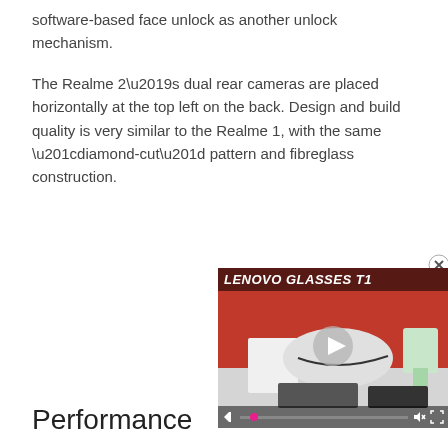software-based face unlock as another unlock mechanism.
The Realme 2’s dual rear cameras are placed horizontally at the top left on the back. Design and build quality is very similar to the Realme 1, with the same “diamond-cut” pattern and fibreglass construction.
[Figure (screenshot): A video player thumbnail showing 'LENOVO GLASSES T1' text overlay with a play button in the center, and video controls at the bottom. A close (X) button appears at the top right.]
Performance